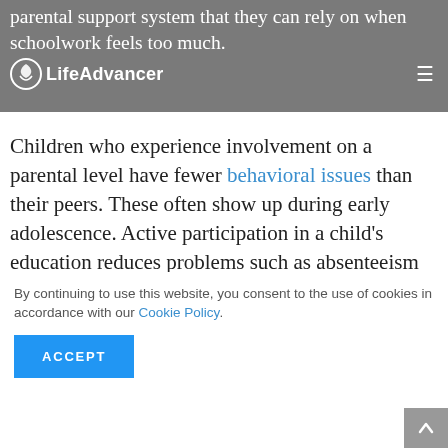parental support system that they can rely on when schoolwork feels too much.
Children who experience involvement on a parental level have fewer behavioral issues than their peers. These often show up during early adolescence. Active participation in a child's education reduces problems such as absenteeism and
By continuing to use this website, you consent to the use of cookies in accordance with our Cookie Policy.
ACCEPT